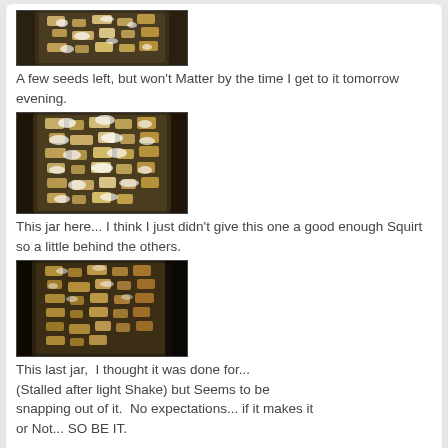[Figure (photo): Top of a jar with grain/seeds, partially visible, dark background]
A few seeds left, but won't Matter by the time I get to it tomorrow evening.
[Figure (photo): Jar filled with grain/seeds, showing white mycelium growth on corn kernels]
This jar here... I think I just didn't give this one a good enough Squirt so a little behind the others.
[Figure (photo): Jar with grain/seeds, darker, less mycelium growth visible]
This last jar,  I thought it was done for... (Stalled after light Shake) but Seems to be snapping out of it.  No expectations... if it makes it or Not... SO BE IT.
Edited by MushLuvR, 12 August 2021 - 10:39 AM.
rockyfungus